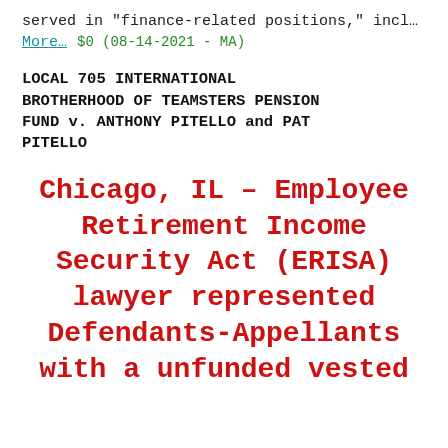served in "finance-related positions," incl…
More…  $0 (08-14-2021 - MA)
LOCAL 705 INTERNATIONAL BROTHERHOOD OF TEAMSTERS PENSION FUND v. ANTHONY PITELLO and PAT PITELLO
Chicago, IL – Employee Retirement Income Security Act (ERISA) lawyer represented Defendants-Appellants with a unfunded vested